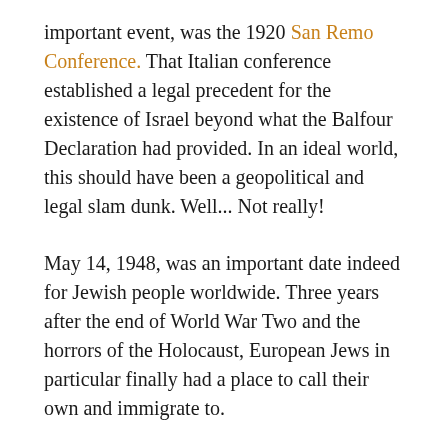important event, was the 1920 San Remo Conference. That Italian conference established a legal precedent for the existence of Israel beyond what the Balfour Declaration had provided. In an ideal world, this should have been a geopolitical and legal slam dunk. Well... Not really!
May 14, 1948, was an important date indeed for Jewish people worldwide. Three years after the end of World War Two and the horrors of the Holocaust, European Jews in particular finally had a place to call their own and immigrate to.
on May 15, 1949, the Dhikra an-Nakba, meaning “Memory of the Catastrophe” started being commemorated unofficially. It was later officially established by Yasir Arafat in 1998. It has now